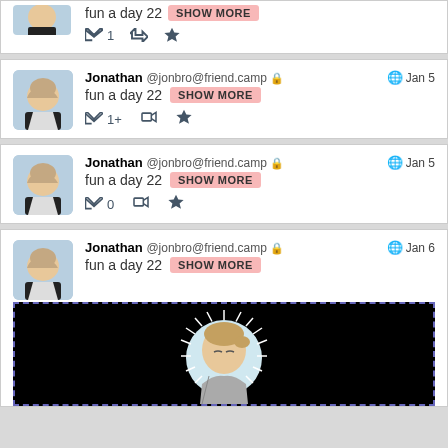[Figure (screenshot): Partial social media post at top: Jonathan @jonbro@friend.camp with 'fun a day 22 SHOW MORE' and reply count 1, retweet, star icons]
[Figure (screenshot): Social media post: Jonathan @jonbro@friend.camp Jan 5, fun a day 22 SHOW MORE, 1+ replies, retweet, star]
[Figure (screenshot): Social media post: Jonathan @jonbro@friend.camp Jan 5, fun a day 22 SHOW MORE, 0 replies, retweet, star]
[Figure (screenshot): Social media post: Jonathan @jonbro@friend.camp Jan 6, fun a day 22 SHOW MORE, with attached image showing illustrated character in circle on black background]